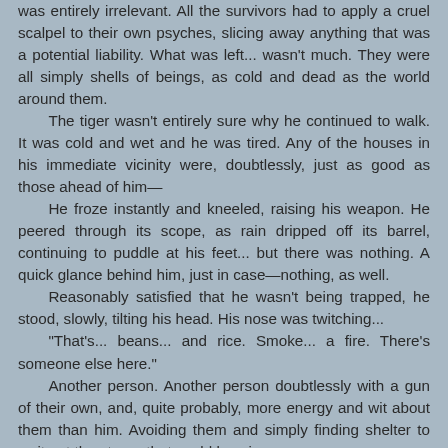was entirely irrelevant. All the survivors had to apply a cruel scalpel to their own psyches, slicing away anything that was a potential liability. What was left... wasn't much. They were all simply shells of beings, as cold and dead as the world around them.
	The tiger wasn't entirely sure why he continued to walk. It was cold and wet and he was tired. Any of the houses in his immediate vicinity were, doubtlessly, just as good as those ahead of him—
	He froze instantly and kneeled, raising his weapon. He peered through its scope, as rain dripped off its barrel, continuing to puddle at his feet... but there was nothing. A quick glance behind him, just in case—nothing, as well.
	Reasonably satisfied that he wasn't being trapped, he stood, slowly, tilting his head. His nose was twitching...
	"That's... beans... and rice. Smoke... a fire. There's someone else here."
	Another person. Another person doubtlessly with a gun of their own, and, quite probably, more energy and wit about them than him. Avoiding them and simply finding shelter to wait out the storm, that could be wise...
	But a sudden, loud clash of thunder rejected that plan for the time. No lightning had even made it that way—it was purely. Bah—